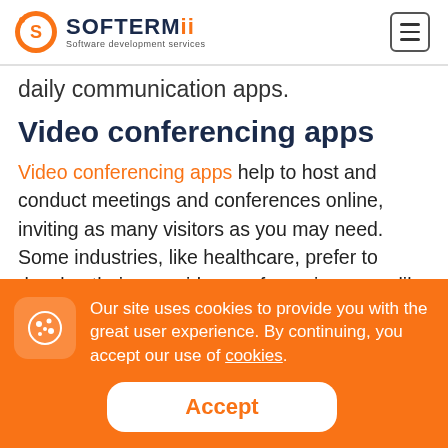SOFTERMII - Software development services
daily communication apps.
Video conferencing apps
Video conferencing apps help to host and conduct meetings and conferences online, inviting as many visitors as you may need. Some industries, like healthcare, prefer to develop their own video conferencing apps, like HIPAA
Our site uses cookies to provide you with the great user experience. By continuing, you accept our use of cookies.
Accept